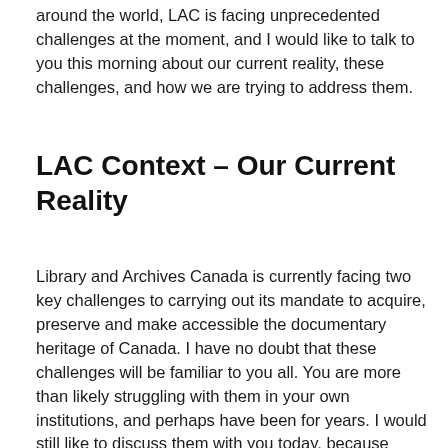around the world, LAC is facing unprecedented challenges at the moment, and I would like to talk to you this morning about our current reality, these challenges, and how we are trying to address them.
LAC Context – Our Current Reality
Library and Archives Canada is currently facing two key challenges to carrying out its mandate to acquire, preserve and make accessible the documentary heritage of Canada. I have no doubt that these challenges will be familiar to you all. You are more than likely struggling with them in your own institutions, and perhaps have been for years. I would still like to discuss them with you today, because these realities are informing our work, and because professionals in this field need to hear about how these issues are being addressed by their colleagues in